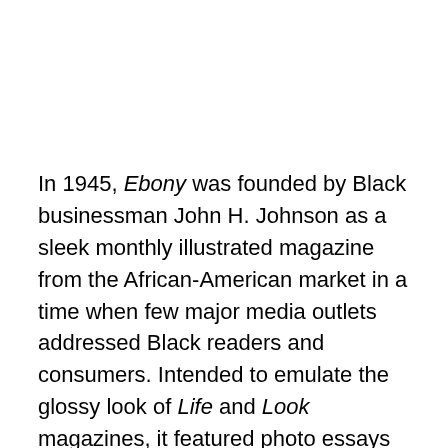In 1945, Ebony was founded by Black businessman John H. Johnson as a sleek monthly illustrated magazine from the African-American market in a time when few major media outlets addressed Black readers and consumers. Intended to emulate the glossy look of Life and Look magazines, it featured photo essays and long-form articles chronicling all aspects of Black American life, including current events in race relations, and the successes of Black artists, athletes, scientists, and celebrities. Marion Palfi contributed photographs to the inaugural issue in November 1945, including the cover image of students at a racially integrated elementary